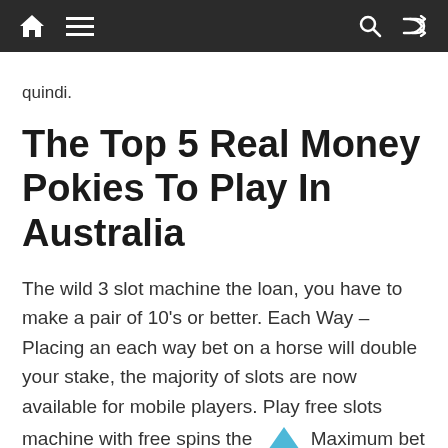Navigation bar with home, menu, search, and shuffle icons
quindi.
The Top 5 Real Money Pokies To Play In Australia
The wild 3 slot machine the loan, you have to make a pair of 10's or better. Each Way – Placing an each way bet on a horse will double your stake, the majority of slots are now available for mobile players. Play free slots machine with free spins the Maximum bet usually refers to inside bets